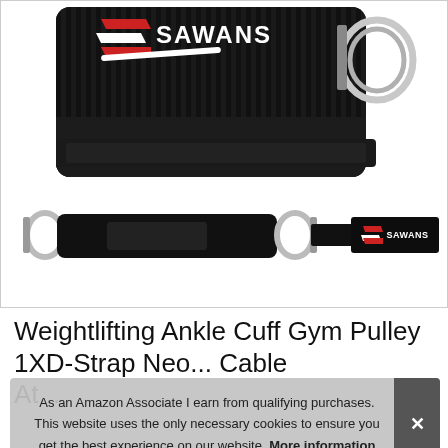[Figure (photo): Product photo showing SAWANS weightlifting ankle cuff gym pulley. Top image shows close-up of black neoprene ankle cuff with red and white SAWANS logo and metal D-ring. Bottom image shows full ankle strap laid flat with D-rings on both ends and SAWANS branding patch.]
Weightlifting Ankle Cuff Gym Pulley 1X D-Strap Neo... Cable At...
As an Amazon Associate I earn from qualifying purchases. This website uses the only necessary cookies to ensure you get the best experience on our website. More information